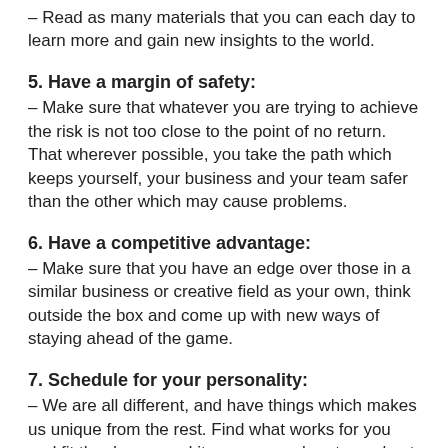– Read as many materials that you can each day to learn more and gain new insights to the world.
5. Have a margin of safety:
– Make sure that whatever you are trying to achieve the risk is not too close to the point of no return. That wherever possible, you take the path which keeps yourself, your business and your team safer than the other which may cause problems.
6. Have a competitive advantage:
– Make sure that you have an edge over those in a similar business or creative field as your own, think outside the box and come up with new ways of staying ahead of the game.
7. Schedule for your personality:
– We are all different, and have things which makes us unique from the rest. Find what works for you and fit the day around it, so you can be at your best the whole time.